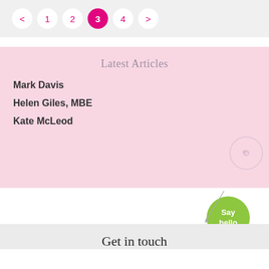< 1 2 3 4 >
Latest Articles
Mark Davis
Helen Giles, MBE
Kate McLeod
[Figure (illustration): Green circular 'Say hello' button with diagonal connector line]
Get in touch